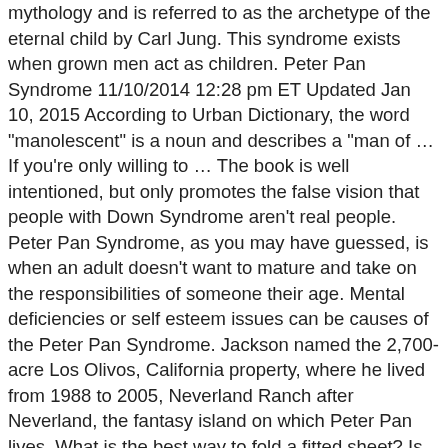mythology and is referred to as the archetype of the eternal child by Carl Jung. This syndrome exists when grown men act as children. Peter Pan Syndrome 11/10/2014 12:28 pm ET Updated Jan 10, 2015 According to Urban Dictionary, the word "manolescent" is a noun and describes a "man of … If you're only willing to … The book is well intentioned, but only promotes the false vision that people with Down Syndrome aren't real people. Peter Pan Syndrome, as you may have guessed, is when an adult doesn't want to mature and take on the responsibilities of someone their age. Mental deficiencies or self esteem issues can be causes of the Peter Pan Syndrome. Jackson named the 2,700-acre Los Olivos, California property, where he lived from 1988 to 2005, Neverland Ranch after Neverland, the fantasy island on which Peter Pan lives. What is the best way to fold a fitted sheet? Is green skull in the pirate bay is good? Peter Pan syndrome is largely associated with males (and has been from the start).